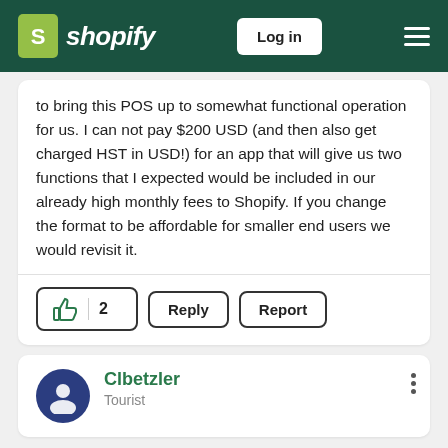shopify — Log in
to bring this POS up to somewhat functional operation for us. I can not pay $200 USD (and then also get charged HST in USD!) for an app that will give us two functions that I expected would be included in our already high monthly fees to Shopify. If you change the format to be affordable for smaller end users we would revisit it.
👍 2   Reply   Report
Clbetzler
Tourist